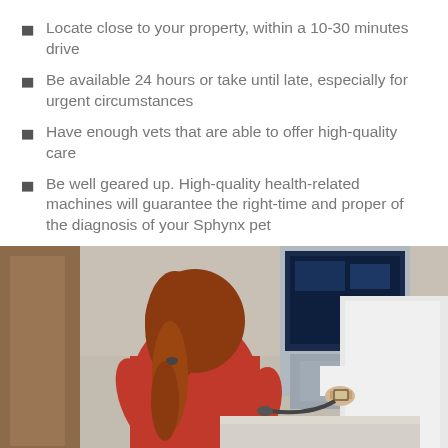Locate close to your property, within a 10-30 minutes drive
Be available 24 hours or take until late, especially for urgent circumstances
Have enough vets that are able to offer high-quality care
Be well geared up. High-quality health-related machines will guarantee the right-time and proper of the diagnosis of your Sphynx pet
[Figure (photo): A person with red hair wearing a red top is using medical ultrasound equipment, assisted by a person in a white coat in a clinical setting.]